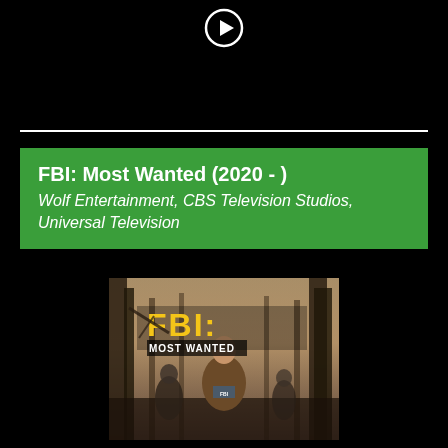[Figure (illustration): Play button icon (circle with triangle) at top center]
FBI: Most Wanted (2020 - )
Wolf Entertainment, CBS Television Studios, Universal Television
[Figure (photo): FBI: Most Wanted TV show poster showing agents in a forest, with large yellow FBI: MOST WANTED text overlay]